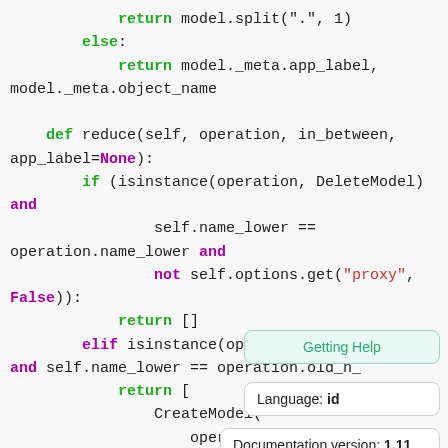[Figure (screenshot): Python source code snippet showing a reduce method with keyword coloring: green for return/def/elif, purple for and/not/None/False/elif, red for string literals. Code shows model.split, model._meta, reduce function definition, isinstance checks for DeleteModel and RenameModel, and CreateModel return block.]
Getting Help
Language: id
Documentation version: 1.11